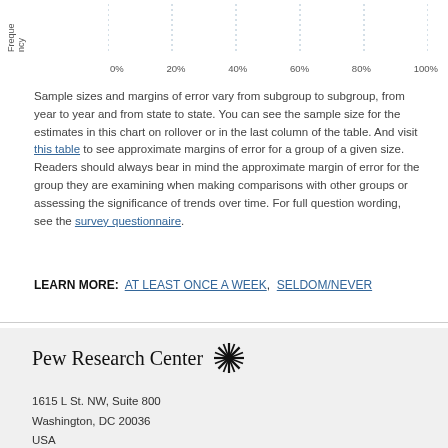[Figure (continuous-plot): Partial view of a chart showing x-axis labels (0%, 20%, 40%, 60%, 80%, 100%) and a rotated y-axis label 'Freque...' (Frequency). Dotted gridlines visible.]
Sample sizes and margins of error vary from subgroup to subgroup, from year to year and from state to state. You can see the sample size for the estimates in this chart on rollover or in the last column of the table. And visit this table to see approximate margins of error for a group of a given size. Readers should always bear in mind the approximate margin of error for the group they are examining when making comparisons with other groups or assessing the significance of trends over time. For full question wording, see the survey questionnaire.
LEARN MORE: AT LEAST ONCE A WEEK, SELDOM/NEVER
Pew Research Center
1615 L St. NW, Suite 800
Washington, DC 20036
USA
(+1) 202-419-4300 | Main